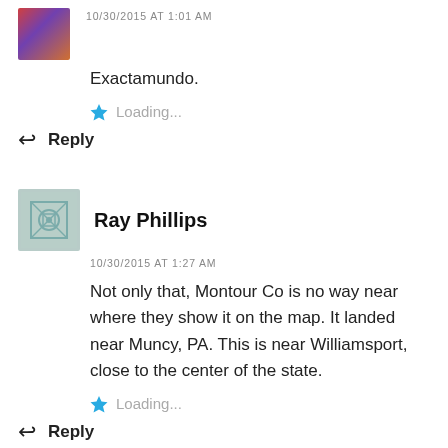Exactamundo.
Loading...
Reply
Ray Phillips
10/30/2015 AT 1:27 AM
Not only that, Montour Co is no way near where they show it on the map. It landed near Muncy, PA. This is near Williamsport, close to the center of the state.
Loading...
Reply